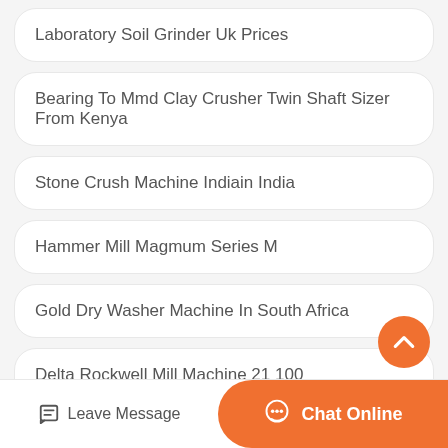Laboratory Soil Grinder Uk Prices
Bearing To Mmd Clay Crusher Twin Shaft Sizer From Kenya
Stone Crush Machine Indiain India
Hammer Mill Magmum Series M
Gold Dry Washer Machine In South Africa
Delta Rockwell Mill Machine 21 100
Gold Ore Crusher Manufacturer In Angola
Leave Message  Chat Online